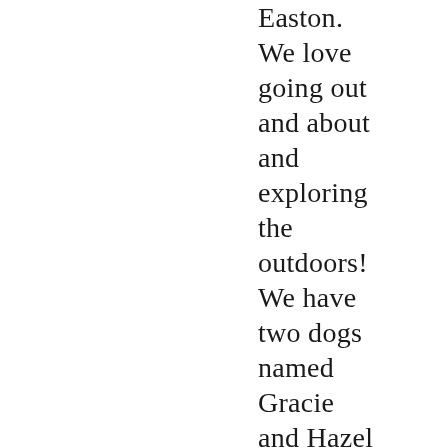Easton. We love going out and about and exploring the outdoors! We have two dogs named Gracie and Hazel and a cat named Bonnie